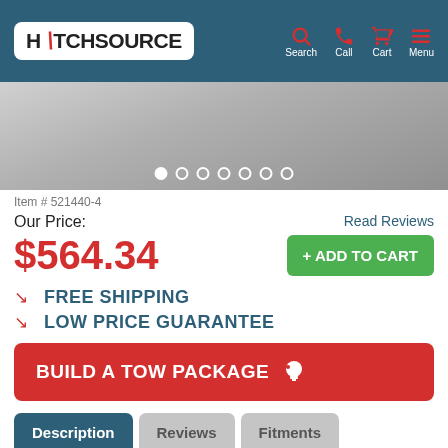HitchSource — Search, Call, Cart, Menu
[Figure (photo): Product image with dot navigation indicator showing 7 dots, first dot active]
Item # 521440-4
Our Price:
Read Reviews
$564.34
+ ADD TO CART
FREE SHIPPING
LOW PRICE GUARANTEE
BUILD A TOW PACKAGE
Description  Reviews  Fitments